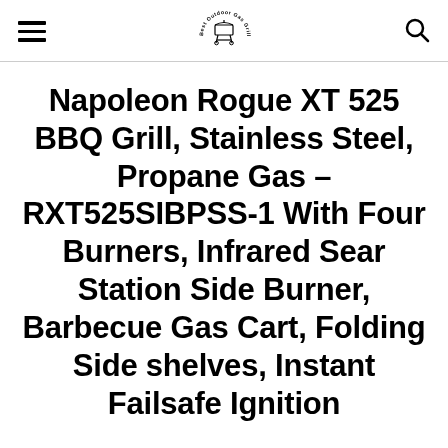Best Outdoor Gas Grills logo with hamburger menu and search icon
Napoleon Rogue XT 525 BBQ Grill, Stainless Steel, Propane Gas – RXT525SIBPSS-1 With Four Burners, Infrared Sear Station Side Burner, Barbecue Gas Cart, Folding Side shelves, Instant Failsafe Ignition